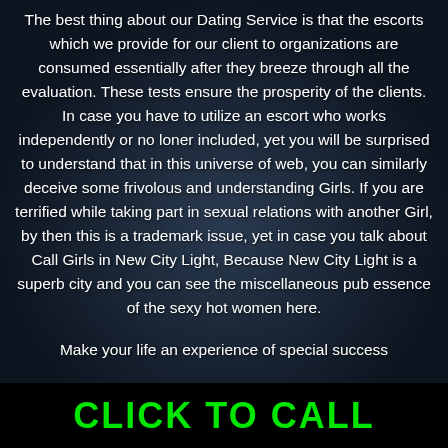The best thing about our Dating Service is that the escorts which we provide for our client to organizations are consumed essentially after they breeze through all the evaluation. These tests ensure the prosperity of the clients. In case you have to utilize an escort who works independently or no loner included, yet you will be surprised to understand that in this universe of web, you can similarly deceive some frivolous and understanding Girls. If you are terrified while taking part in sexual relations with another Girl, by then this is a trademark issue, yet in case you talk about Call Girls in New City Light, Because New City Light is a superb city and you can see the miscellaneous pub essence of the sexy hot women here.
Make your life an experience of special success
CLICK TO CALL